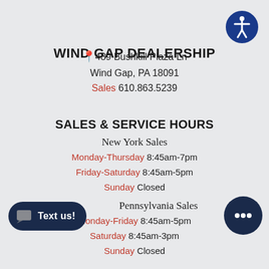[Figure (logo): Accessibility icon: blue circle with white person figure]
WIND GAP DEALERSHIP
📍489 Bushkill Plaza Ln
Wind Gap, PA 18091
Sales 610.863.5239
SALES & SERVICE HOURS
New York Sales
Monday-Thursday 8:45am-7pm
Friday-Saturday 8:45am-5pm
Sunday Closed
Pennsylvania Sales
Monday-Friday 8:45am-5pm
Saturday 8:45am-3pm
Sunday Closed
[Figure (other): Text us! chat button (dark navy pill-shaped button with chat icon)]
[Figure (other): Chat bubble icon (dark navy circle with three dots)]